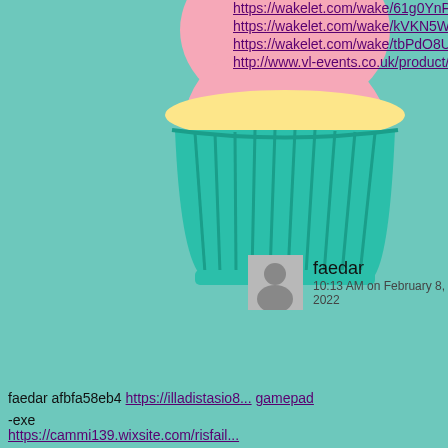[Figure (illustration): Cupcake illustration with pink frosting and teal/green wrapper on a teal background, partially visible on the left side of the page.]
https://wakelet.com/wake/61g0YnPL...
https://wakelet.com/wake/kVKN5WM...
https://wakelet.com/wake/tbPdO8U3h...
http://www.vl-events.co.uk/product/ez...
faedar
10:13 AM on February 8, 2022
faedar afbfa58eb4 https://illadistasio8...gamepad
-exe
https://uploads.strikinglycdn.com/files...
77477acb6b0/Dr-House-Ita-Torrent-S...
https://trello.com/c/7zIIK9Uo/384-cor...
-hack-tool-whoobill
https://boifehabsprec.weebly.com/uplo...
rd-project-management-fernando-rem...
https://uploads.strikinglycdn.com/files...
14dc8ca0a33/Xander-For-Pc-Downlo...
https://cammi139.wixsite.com/risfail...